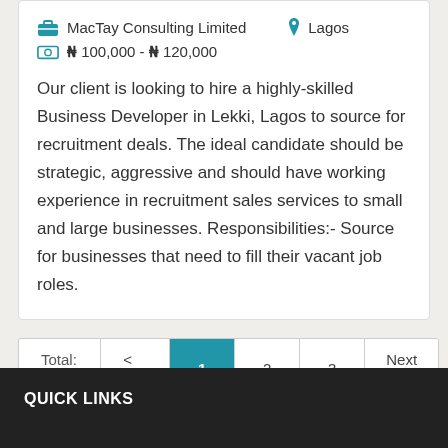MacTay Consulting Limited   Lagos
₦ 100,000 - ₦ 120,000
Our client is looking to hire a highly-skilled Business Developer in Lekki, Lagos to source for recruitment deals. The ideal candidate should be strategic, aggressive and should have working experience in recruitment sales services to small and large businesses. Responsibilities:- Source for businesses that need to fill their vacant job roles.
Total: 11  < Pre  1  2  3  Next >
QUICK LINKS